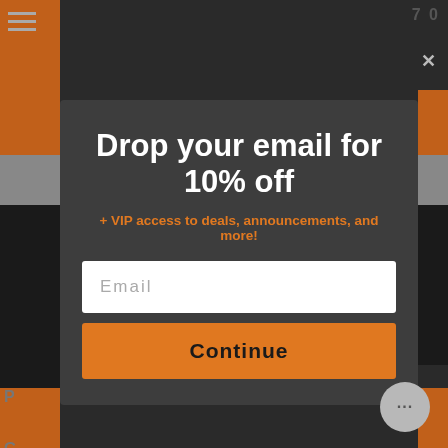Drop your email for 10% off
+ VIP access to deals, announcements, and more!
Email
Continue